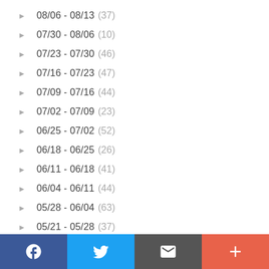08/06 - 08/13 (37)
07/30 - 08/06 (10)
07/23 - 07/30 (46)
07/16 - 07/23 (47)
07/09 - 07/16 (44)
07/02 - 07/09 (23)
06/25 - 07/02 (52)
06/18 - 06/25 (26)
06/11 - 06/18 (41)
06/04 - 06/11 (44)
05/28 - 06/04 (63)
05/21 - 05/28 (37)
[Figure (infographic): Social sharing footer bar with Facebook (blue), Twitter (light blue), Email (gray), and Plus/More (orange-red) buttons]